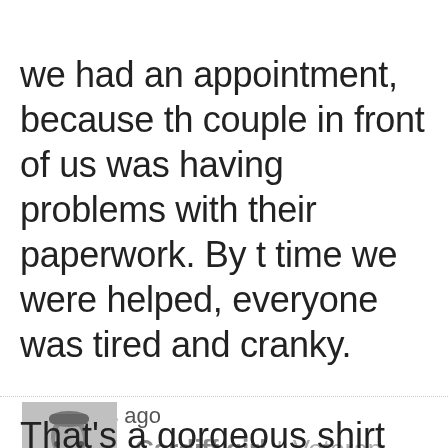we had an appointment, because the couple in front of us was having problems with their paperwork. By the time we were helped, everyone was tired and cranky.
3 years ago
Cardiff girl | Veteran
That's a gorgeous shirt and really br